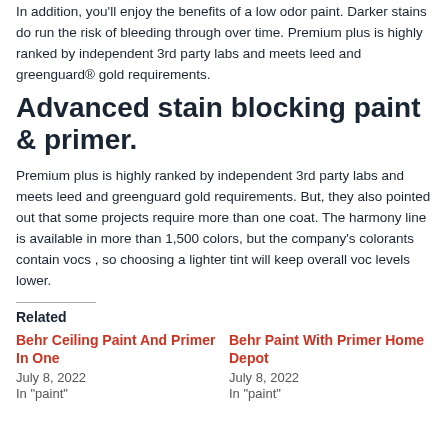In addition, you'll enjoy the benefits of a low odor paint. Darker stains do run the risk of bleeding through over time. Premium plus is highly ranked by independent 3rd party labs and meets leed and greenguard® gold requirements.
Advanced stain blocking paint & primer.
Premium plus is highly ranked by independent 3rd party labs and meets leed and greenguard gold requirements. But, they also pointed out that some projects require more than one coat. The harmony line is available in more than 1,500 colors, but the company's colorants contain vocs , so choosing a lighter tint will keep overall voc levels lower.
Related
Behr Ceiling Paint And Primer In One
July 8, 2022
In "paint"
Behr Paint With Primer Home Depot
July 8, 2022
In "paint"